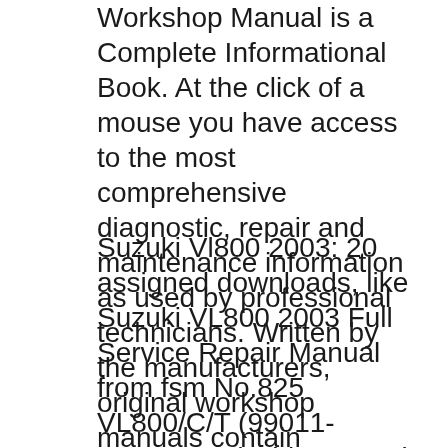Workshop Manual is a Complete Informational Book. At the click of a mouse you have access to the most comprehensive diagnostic, repair and maintenance information as used by professional technicians. Written by the manufacturers, original workshop manuals contain hundreds of pages of diagrams and detailed
Suzuki Vl800 2003: 20 assigned downloads, like Suzuki VL800 2003 Full Service Repair Manual from fsm No.825 VL800/C/T (99011-43H50-03A) This manual should be considered a permanent part of the motorcycle and should remain with the motorcycle when resold or otherwise transferred to